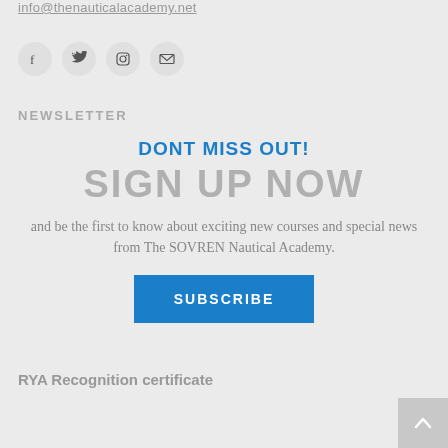info@thenauticalacademy.net
[Figure (other): Social media icons: Facebook, Twitter, Instagram, Email]
NEWSLETTER
DONT MISS OUT!
SIGN UP NOW
and be the first to know about exciting new courses and special news from The SOVREN Nautical Academy.
SUBSCRIBE
RYA Recognition certificate
[Figure (other): Scroll to top button with upward arrow]